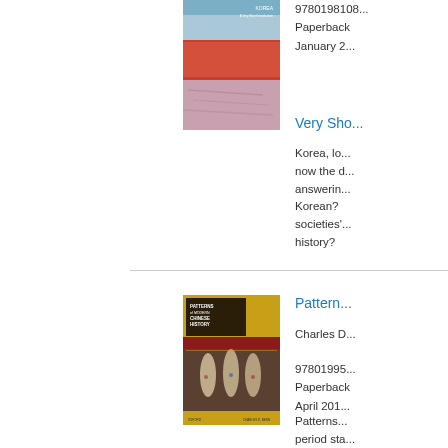[Figure (photo): Book cover of 'Korea: A Very Short Introduction' showing abstract landscape with red/orange and pink tones]
9780198108...
Paperback
January 2...
Very Sho...
Korea, lo... now the d... answerin... Korean?... societies'... history?
[Figure (photo): Book cover of 'Patterns of Modern Chinese History' showing traditional Chinese figures in ornate robes on gold background]
Charles D...
97801995...
Paperback
April 2010...
Patterns... period sta... Providing... introductor... and a flui...